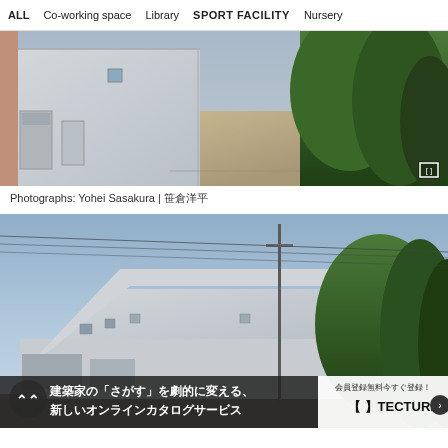ALL   Co-working space   Library   SPORT FACILITY   Nursery
[Figure (photo): Exterior view of a white modernist building with doors and windows, adjacent to a courtyard with fallen leaves and dense green trees on the right side.]
Photographs: Yohei Sasakura | 笹倉洋平
[Figure (photo): Exterior view of a large angular white building with a pitched roof, utility pole with power lines, dense trees on the right, overcast blue sky. Overlay banner at bottom: 建築家の「さがす」を劇的に変える、新しいオンラインカタログサービス / 会員登録無料今すぐ登録！【】TECTURE]